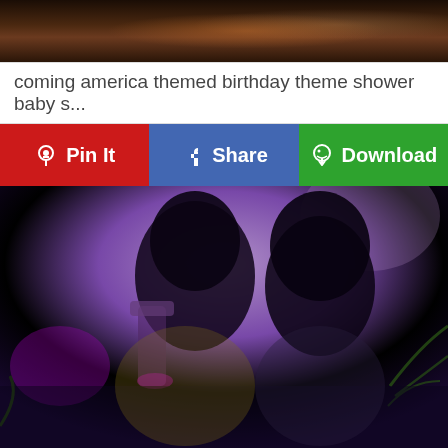[Figure (photo): Top portion of a photo showing a dark-themed party or event setting with decorative items visible]
coming america themed birthday theme shower baby s...
[Figure (infographic): Three action buttons: Pinterest Pin It (red), Facebook Share (blue), Download (green)]
[Figure (photo): Two women smiling and posing together at what appears to be a Coming to America themed party. Both wearing African-inspired attire. Purple/lavender backdrop with decorative elements including ornate candle holders and palm leaves visible.]